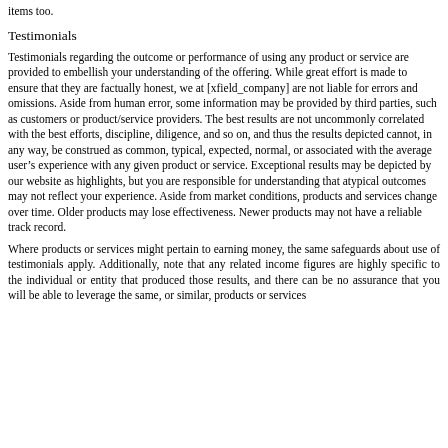items too.
Testimonials
Testimonials regarding the outcome or performance of using any product or service are provided to embellish your understanding of the offering. While great effort is made to ensure that they are factually honest, we at [xfield_company] are not liable for errors and omissions. Aside from human error, some information may be provided by third parties, such as customers or product/service providers. The best results are not uncommonly correlated with the best efforts, discipline, diligence, and so on, and thus the results depicted cannot, in any way, be construed as common, typical, expected, normal, or associated with the average user’s experience with any given product or service. Exceptional results may be depicted by our website as highlights, but you are responsible for understanding that atypical outcomes may not reflect your experience. Aside from market conditions, products and services change over time. Older products may lose effectiveness. Newer products may not have a reliable track record.
Where products or services might pertain to earning money, the same safeguards about use of testimonials apply. Additionally, note that any related income figures are highly specific to the individual or entity that produced those results, and there can be no assurance that you will be able to leverage the same, or similar, products or services